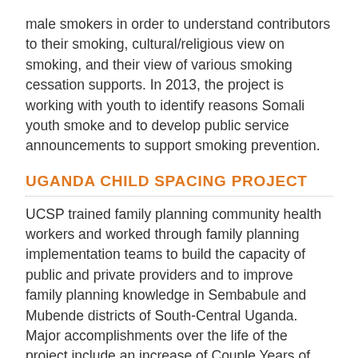male smokers in order to understand contributors to their smoking, cultural/religious view on smoking, and their view of various smoking cessation supports. In 2013, the project is working with youth to identify reasons Somali youth smoke and to develop public service announcements to support smoking prevention.
UGANDA CHILD SPACING PROJECT
UCSP trained family planning community health workers and worked through family planning implementation teams to build the capacity of public and private providers and to improve family planning knowledge in Sembabule and Mubende districts of South-Central Uganda. Major accomplishments over the life of the project include an increase of Couple Years of Protection (CYP) across both districts from